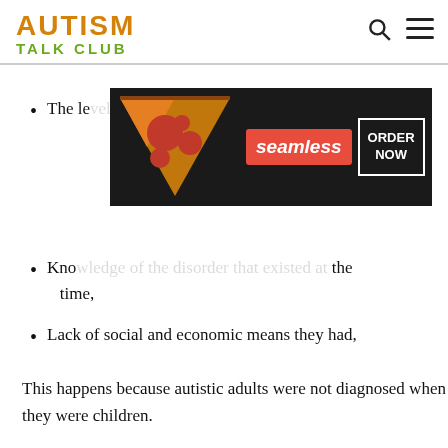AUTISM TALK CLUB
The level of science,
[Figure (other): Seamless food delivery advertisement banner with pizza image, seamless logo in red, and ORDER NOW button]
Knowledge of the disorder that existed at the time,
Lack of social and economic means they had,
This happens because autistic adults were not diagnosed when they were children.
Since autism spectrum disorder is still, in part, a mystery, studies generally focus on where the disorder stems from to figure out how it occurs in the first place. This has caused the focus to be on children. The adults who have never been diagnosed have slipped through the cracks the
[Figure (other): Bloomingdale's advertisement banner with View Today's Top Deals text and SHOP NOW button]